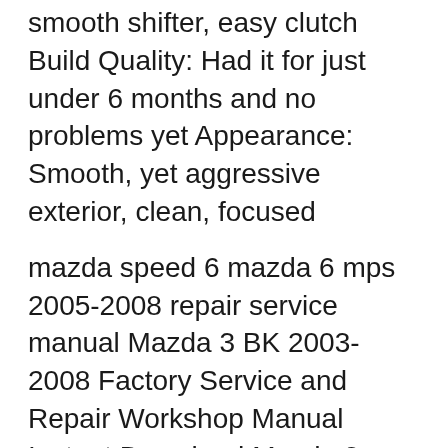Performance: Quick, good handling, smooth shifter, easy clutch Build Quality: Had it for just under 6 months and no problems yet Appearance: Smooth, yet aggressive exterior, clean, focused
mazda speed 6 mazda 6 mps 2005-2008 repair service manual Mazda 3 BK 2003-2008 Factory Service and Repair Workshop Manual Instant Download Mazda 3 Speed 3 Second Generation 2008-2013 Factory Service and Repair Workshop Manual Instant Download 1996 Mazda 626/MX-6 Workshop Manual Download This is the most complete Workshop Manual for the 1996 Mazda 626/MX-6. This manual